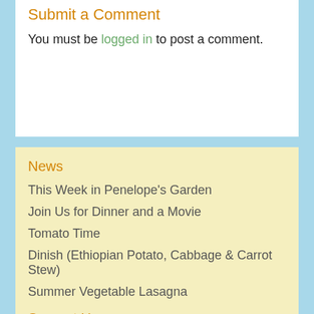Submit a Comment
You must be logged in to post a comment.
News
This Week in Penelope's Garden
Join Us for Dinner and a Movie
Tomato Time
Dinish (Ethiopian Potato, Cabbage & Carrot Stew)
Summer Vegetable Lasagna
Support Us
Donate